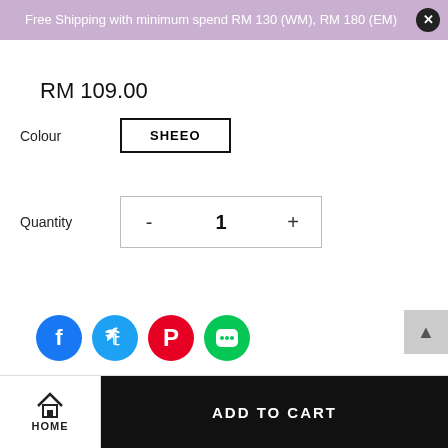Free Shipping with minimum spend RM 130 (WM), RM 180 (EM)
RM 109.00
Colour   SHEEO
Quantity   - 1 +
[Figure (other): Social share icons: Facebook, Twitter, Pinterest, LINE]
HOME | ADD TO CART